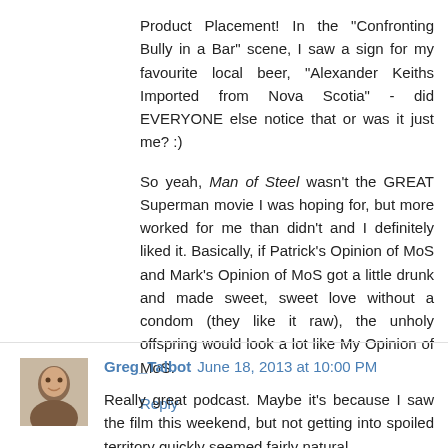Product Placement! In the "Confronting Bully in a Bar" scene, I saw a sign for my favourite local beer, "Alexander Keiths Imported from Nova Scotia" - did EVERYONE else notice that or was it just me? :)
So yeah, Man of Steel wasn't the GREAT Superman movie I was hoping for, but more worked for me than didn't and I definitely liked it. Basically, if Patrick's Opinion of MoS and Mark's Opinion of MoS got a little drunk and made sweet, sweet love without a condom (they like it raw), the unholy offspring would look a lot like My Opinion of MoS.
Reply
Greg_Talbot June 18, 2013 at 10:00 PM
Really great podcast. Maybe it's because I saw the film this weekend, but not getting into spoiled territory quickly seemed fairly natural.
The discussion really it it on the head on what worked, and